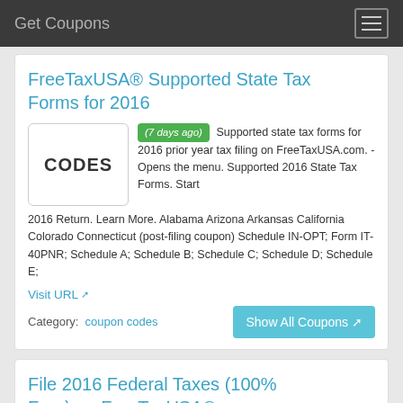Get Coupons
FreeTaxUSA® Supported State Tax Forms for 2016
(7 days ago) Supported state tax forms for 2016 prior year tax filing on FreeTaxUSA.com. - Opens the menu. Supported 2016 State Tax Forms. Start 2016 Return. Learn More. Alabama Arizona Arkansas California Colorado Connecticut (post-filing coupon) Schedule IN-OPT; Form IT-40PNR; Schedule A; Schedule B; Schedule C; Schedule D; Schedule E;
Visit URL
Category:  coupon codes
File 2016 Federal Taxes (100% Free) on FreeTaxUSA®